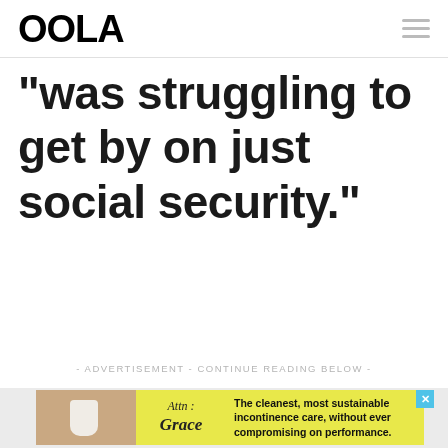OOLA
“was struggling to get by on just social security.”
- ADVERTISEMENT - CONTINUE READING BELOW -
[Figure (other): Advertisement banner for Attn: Grace incontinence care product with yellow background. Text reads: The cleanest, most sustainable incontinence care, without ever compromising on performance.]